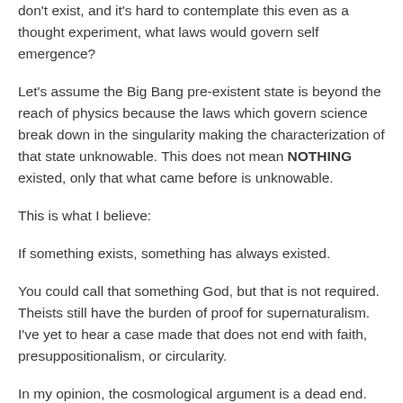don't exist, and it's hard to contemplate this even as a thought experiment, what laws would govern self emergence?
Let's assume the Big Bang pre-existent state is beyond the reach of physics because the laws which govern science break down in the singularity making the characterization of that state unknowable. This does not mean NOTHING existed, only that what came before is unknowable.
This is what I believe:
If something exists, something has always existed.
You could call that something God, but that is not required. Theists still have the burden of proof for supernaturalism. I've yet to hear a case made that does not end with faith, presuppositionalism, or circularity.
In my opinion, the cosmological argument is a dead end.